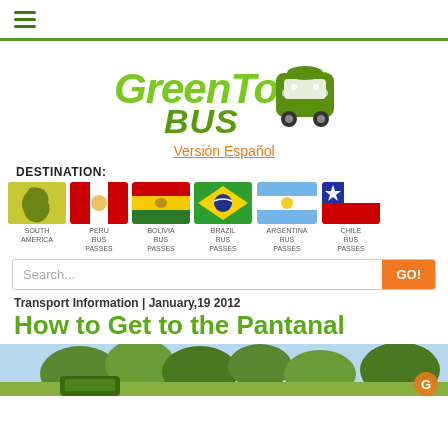GreenToad Bus - navigation menu
[Figure (logo): GreenToad Bus logo with green text and bus icon]
Versión Español
DESTINATION:
[Figure (infographic): Destination flags: South America, Peru Bus Passes, Bolivia Bus Passes, Brazil Bus Passes, Argentina Bus Passes, Chile Bus Passes]
Search...
Transport Information | January,19 2012
How to Get to the Pantanal
[Figure (photo): Partial photo of the Pantanal landscape with trees and a bus]